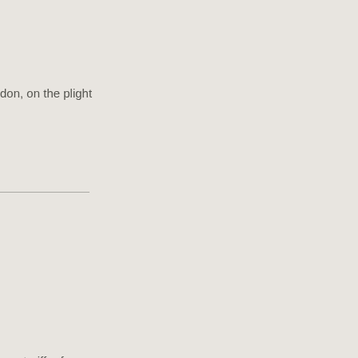don, on the plight
, on tariff reform
d Great Britain
g the territorial